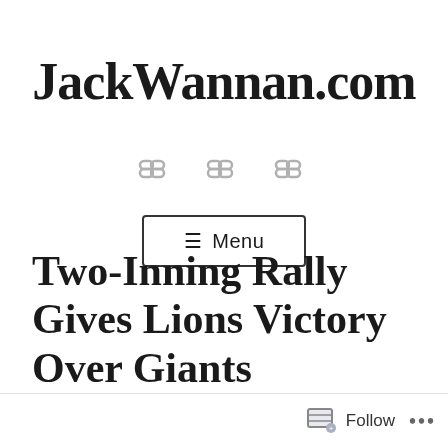JackWannan.com
[Figure (illustration): Three chain link icons in light gray, evenly spaced horizontally]
[Figure (screenshot): Menu button with hamburger icon and text 'Menu', rectangular border]
Two-Inning Rally Gives Lions Victory Over Giants
Follow